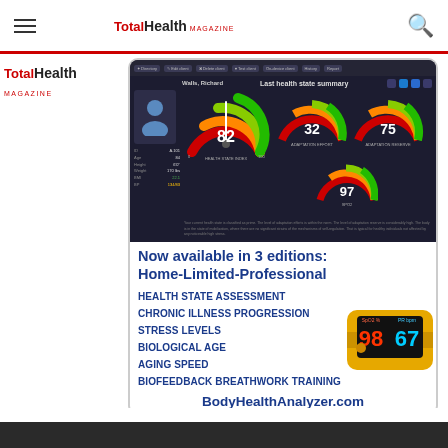TotalHealth MAGAZINE — navigation bar with menu and search icons
[Figure (screenshot): Health dashboard screenshot showing 'Last health state summary' for patient Walls, Richard with gauges: Health State Index 82, Adaptation Effort 32, Adaptation Reserve 75, SpO2 97]
Now available in 3 editions: Home-Limited-Professional
HEALTH STATE ASSESSMENT
CHRONIC ILLNESS PROGRESSION
STRESS LEVELS
BIOLOGICAL AGE
AGING SPEED
BIOFEEDBACK BREATHWORK TRAINING
[Figure (photo): Pulse oximeter device showing readings 98 and 67]
BodyHealthAnalyzer.com